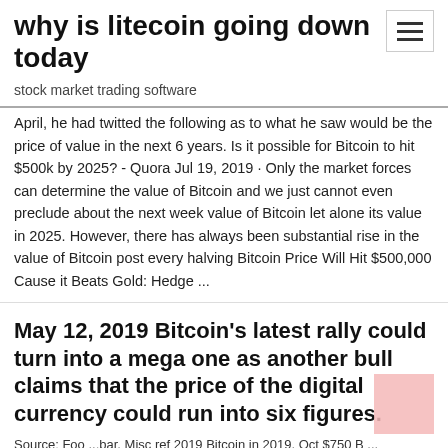why is litecoin going down today
stock market trading software
April, he had twitted the following as to what he saw would be the price of value in the next 6 years. Is it possible for Bitcoin to hit $500k by 2025? - Quora Jul 19, 2019 · Only the market forces can determine the value of Bitcoin and we just cannot even preclude about the next week value of Bitcoin let alone its value in 2025. However, there has always been substantial rise in the value of Bitcoin post every halving Bitcoin Price Will Hit $500,000 Cause it Beats Gold: Hedge ...
May 12, 2019 Bitcoin's latest rally could turn into a mega one as another bull claims that the price of the digital currency could run into six figures.
Source: Foo ...bar, Misc ref 2019 Bitcoin in 2019, Oct $750 B ...